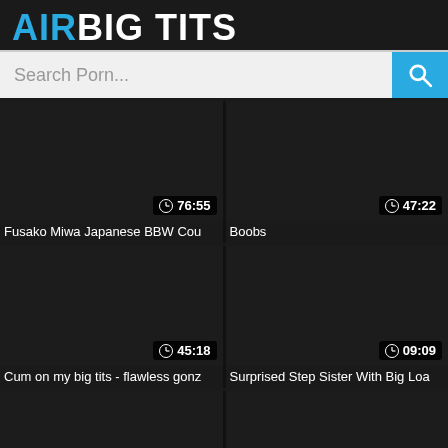AIRBIG TITS
Search Porn...
[Figure (screenshot): Video thumbnail dark, duration 76:55]
Fusako Miwa Japanese BBW Cou
[Figure (screenshot): Video thumbnail dark, duration 47:22]
Boobs
[Figure (screenshot): Video thumbnail dark, duration 45:18]
Cum on my big tits - flawless gonz
[Figure (screenshot): Video thumbnail dark, duration 09:09]
Surprised Step Sister With Big Loa
[Figure (screenshot): Video thumbnail dark, partial view bottom left]
[Figure (screenshot): Video thumbnail dark, partial view bottom right]